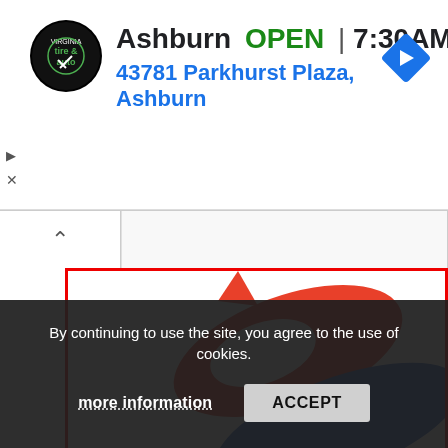[Figure (screenshot): Advertisement banner: Virginia Tire & Auto logo (black circle), text 'Ashburn OPEN 7:30AM–6PM' and address '43781 Parkhurst Plaza, Ashburn' in blue, blue navigation diamond icon on right. Play and close icons on left. Below is a collapse/chevron bar with search input. Main content area outlined in red showing a colorful swirl logo (red, blue, green). Cookie consent overlay at bottom: 'By continuing to use the site, you agree to the use of cookies.' with 'more information' and 'ACCEPT' buttons.]